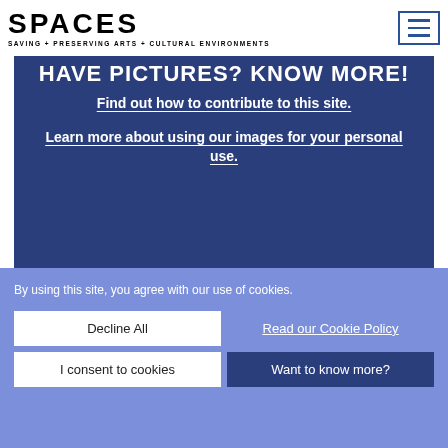[Figure (logo): SPACES logo with bold blocky text and tagline SAVING + PRESERVING ARTS + CULTURAL ENVIRONMENTS]
[Figure (illustration): Hamburger menu icon — three horizontal lines inside a bordered rectangle]
HAVE PICTURES? KNOW MORE!
Find out how to contribute to this site.
Learn more about using our images for your personal use.
By using this site, you agree with our use of cookies.
Decline All
Read our Cookie Policy
I consent to cookies
Want to know more?